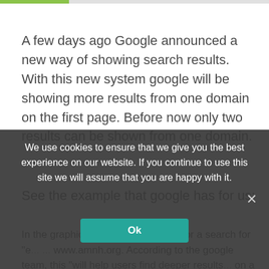A few days ago Google announced a new way of showing search results. With this new system google will be showing more results from one domain on the first page. Before now only two results can be shown from one domain.
See the example that google has for us:
In the graphic above you'll see that for a search for "e... ... www.amnh.org. According to the google team, this "will help users find deeper results on a single site, while still providing diversity on the results page."
We use cookies to ensure that we give you the best experience on our website. If you continue to use this site we will assume that you are happy with it.